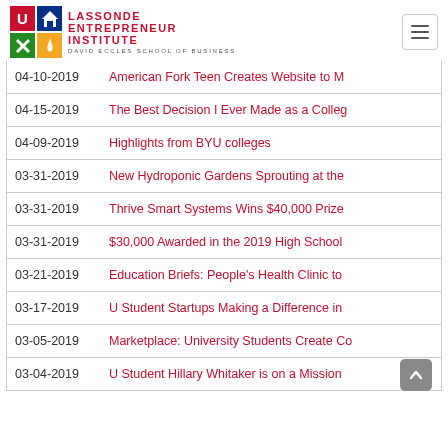Lassonde Entrepreneur Institute - David Eccles School of Business
04-10-2019 | American Fork Teen Creates Website to Ma...
04-15-2019 | The Best Decision I Ever Made as a Colleg...
04-09-2019 | Highlights from BYU colleges
03-31-2019 | New Hydroponic Gardens Sprouting at the...
03-31-2019 | Thrive Smart Systems Wins $40,000 Prize...
03-31-2019 | $30,000 Awarded in the 2019 High School...
03-21-2019 | Education Briefs: People's Health Clinic to...
03-17-2019 | U Student Startups Making a Difference in...
03-05-2019 | Marketplace: University Students Create Co...
03-04-2019 | U Student Hillary Whitaker is on a Mission...